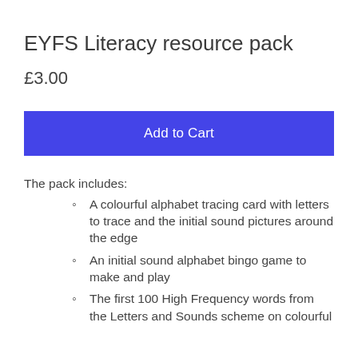EYFS Literacy resource pack
£3.00
Add to Cart
The pack includes:
A colourful alphabet tracing card with letters to trace and the initial sound pictures around the edge
An initial sound alphabet bingo game to make and play
The first 100 High Frequency words from the Letters and Sounds scheme on colourful